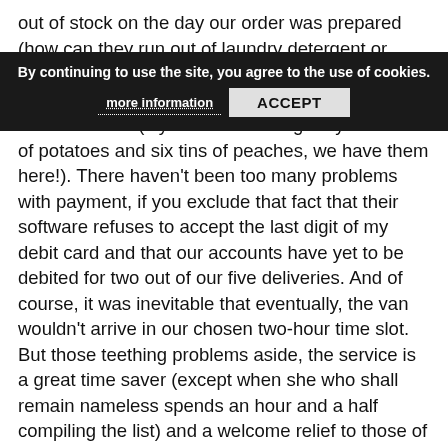out of stock on the day our order was prepared (how can they run out of laundry detergent or fabric softener for goodness sake?!). In addition, we have some canned goods intended for someone else (if you're still waiting for your 10 lbs of potatoes and six tins of peaches, we have them here!). There haven't been too many problems with payment, if you exclude that fact that their software refuses to accept the last digit of my debit card and that our accounts have yet to be debited for two out of our five deliveries. And of course, it was inevitable that eventually, the van wouldn't arrive in our chosen two-hour time slot. But those teething problems aside, the service is a great time saver (except when she who shall remain nameless spends an hour and a half compiling the list) and a welcome relief to those of us that find grocery shopping in person a stressful chore.
[Figure (other): Cookie consent banner overlay with message 'By continuing to use the site, you agree to the use of cookies.' and buttons 'more information' and 'ACCEPT']
It has occurred to me, however, that some of our criticisms of our home shopping experience are our own fault. We have made a classic mistake. We failed to adapt the way we shop to